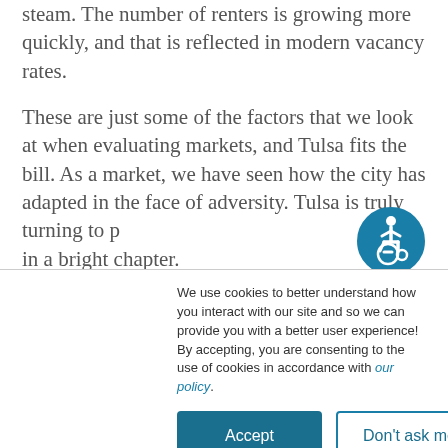steam. The number of renters is growing more quickly, and that is reflected in modern vacancy rates.
These are just some of the factors that we look at when evaluating markets, and Tulsa fits the bill. As a market, we have seen how the city has adapted in the face of adversity. Tulsa is truly turning to p... in a bright chapter.
[Figure (illustration): Accessibility icon — blue circle with white wheelchair user figure]
We use cookies to better understand how you interact with our site and so we can provide you with a better user experience! By accepting, you are consenting to the use of cookies in accordance with our policy.